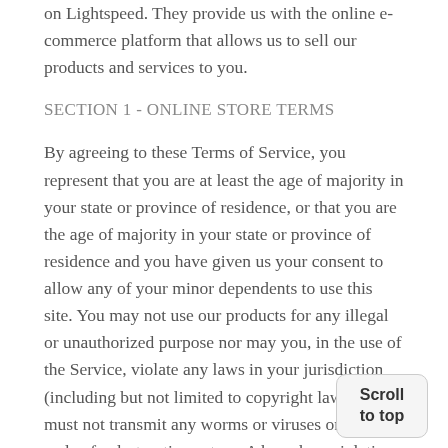on Lightspeed. They provide us with the online e-commerce platform that allows us to sell our products and services to you.
SECTION 1 - ONLINE STORE TERMS
By agreeing to these Terms of Service, you represent that you are at least the age of majority in your state or province of residence, or that you are the age of majority in your state or province of residence and you have given us your consent to allow any of your minor dependents to use this site. You may not use our products for any illegal or unauthorized purpose nor may you, in the use of the Service, violate any laws in your jurisdiction (including but not limited to copyright laws). You must not transmit any worms or viruses or any code of a destructive nature. A breach or violation of any of the Terms will result in an immediate termination of your Services.
SECTION 2 - GENERAL CONDITIONS
We reserve the right to refuse service to anyone fo